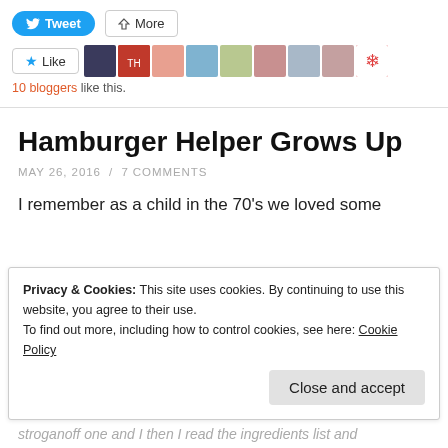[Figure (screenshot): Twitter Tweet button (blue rounded) and More share button (outlined)]
[Figure (screenshot): Like button with star icon and row of 9 blogger avatar thumbnails]
10 bloggers like this.
Hamburger Helper Grows Up
MAY 26, 2016 / 7 COMMENTS
I remember as a child in the 70's we loved some
Privacy & Cookies: This site uses cookies. By continuing to use this website, you agree to their use.
To find out more, including how to control cookies, see here: Cookie Policy
Close and accept
stroganoff one and I then I read the ingredients list and